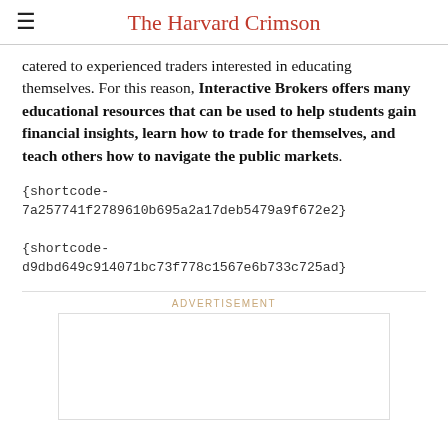The Harvard Crimson
catered to experienced traders interested in educating themselves. For this reason, Interactive Brokers offers many educational resources that can be used to help students gain financial insights, learn how to trade for themselves, and teach others how to navigate the public markets.
{shortcode-7a257741f2789610b695a2a17deb5479a9f672e2}
{shortcode-d9dbd649c914071bc73f778c1567e6b733c725ad}
ADVERTISEMENT
[Figure (other): Advertisement placeholder box]